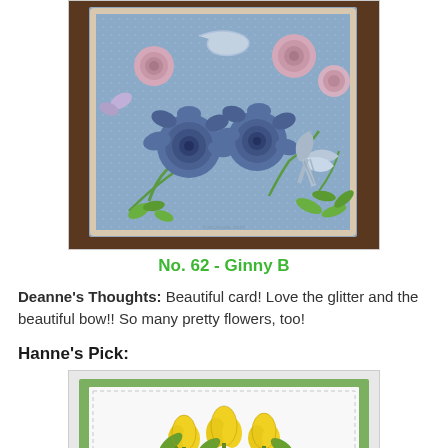[Figure (photo): A handmade greeting card with blue glitter background, large blue rolled-paper roses, smaller pink roses, green leaf die cuts, and a blue striped ribbon bow, placed on a dark wood table.]
No. 62 - Ginny B
Deanne's Thoughts: Beautiful card! Love the glitter and the beautiful bow!! So many pretty flowers, too!
Hanne's Pick:
[Figure (photo): A handmade greeting card featuring yellow tulips/crocus flowers on a white panel, mounted on a green card base with a light gray outer border.]